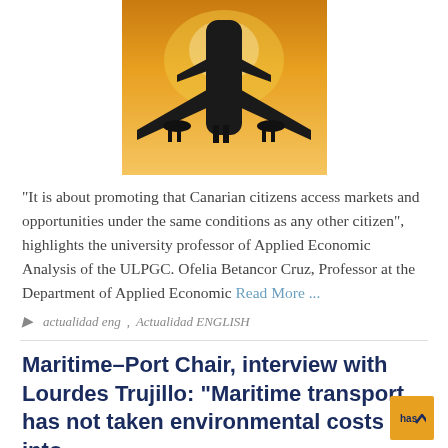[Figure (photo): Silhouette of an airplane against a warm golden sunset sky, viewed from below]
“It is about promoting that Canarian citizens access markets and opportunities under the same conditions as any other citizen”, highlights the university professor of Applied Economic Analysis of the ULPGC. Ofelia Betancor Cruz, Professor at the Department of Applied Economic Read More …
actualidad eng, Actualidad ENGLISH
Maritime–Port Chair, interview with Lourdes Trujillo: “Maritime transport has not taken environmental costs into